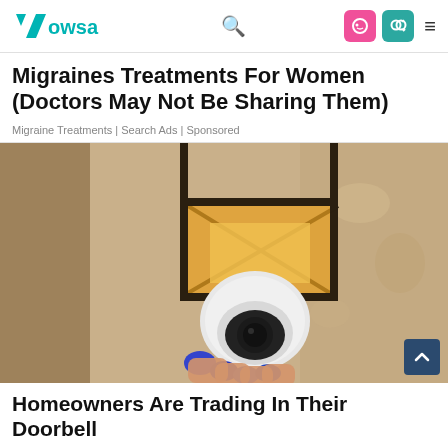Wowsa
Migraines Treatments For Women (Doctors May Not Be Sharing Them)
Migraine Treatments | Search Ads | Sponsored
[Figure (photo): A white security/doorbell camera mounted under a dark metal wall lantern bracket on a textured stucco wall, with a hand holding it from below with blue-painted nails.]
Homeowners Are Trading In Their Doorbell